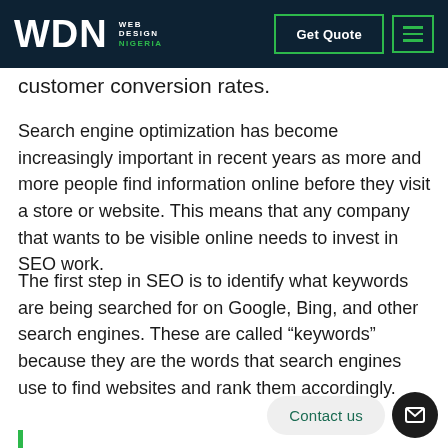WDN Web Design Nigeria — Get Quote | Menu
customer conversion rates.
Search engine optimization has become increasingly important in recent years as more and more people find information online before they visit a store or website. This means that any company that wants to be visible online needs to invest in SEO work.
The first step in SEO is to identify what keywords are being searched for on Google, Bing, and other search engines. These are called “keywords” because they are the words that search engines use to find websites and rank them accordingly.